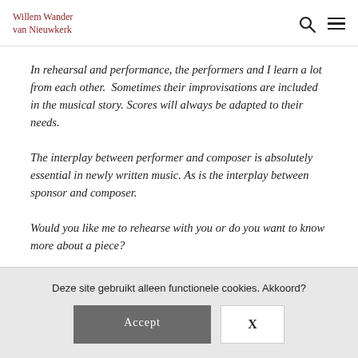Willem Wander van Nieuwkerk
In rehearsal and performance, the performers and I learn a lot from each other.  Sometimes their improvisations are included in the musical story. Scores will always be adapted to their needs.
The interplay between performer and composer is absolutely essential in newly written music. As is the interplay between sponsor and composer.
Would you like me to rehearse with you or do you want to know more about a piece?
Deze site gebruikt alleen functionele cookies. Akkoord?